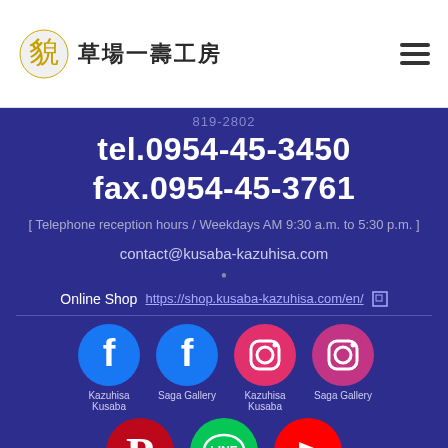草場一壽工房
819-2802
tel.0954-45-3450
fax.0954-45-3761
[ Telephone reception hours / Weekdays AM 9:30 a.m. to 5:30 p.m. ]
contact@kusaba-kazuhisa.com
Online Shop  https://shop.kusaba-kazuhisa.com/en/
[Figure (illustration): Social media icons: Facebook (Kazuhisa Kusaba), Facebook (Saga Gallery), Instagram (Kazuhisa Kusaba), Instagram (Saga Gallery), Pinterest, LINE, YouTube]